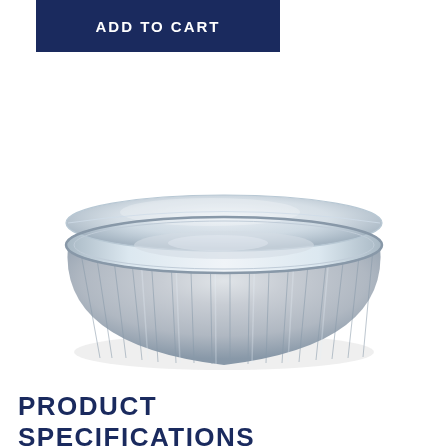ADD TO CART
[Figure (photo): Aluminum foil round baking cup/ramekin with a clear plastic lid, shown from a slightly elevated angle. The container is round, ribbed on the sides, and made of shiny silver aluminum foil.]
PRODUCT SPECIFICATIONS